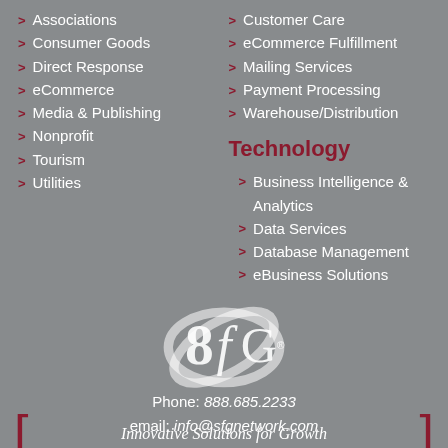> Associations
> Consumer Goods
> Direct Response
> eCommerce
> Media & Publishing
> Nonprofit
> Tourism
> Utilities
> Customer Care
> eCommerce Fulfillment
> Mailing Services
> Payment Processing
> Warehouse/Distribution
Technology
> Business Intelligence & Analytics
> Data Services
> Database Management
> eBusiness Solutions
[Figure (logo): SfG company logo — stylized '8fG' lettering with overlapping ellipse rings, white on gray background, with registered trademark symbol]
Innovative Solutions for Growth
Phone: 888.685.2233
email: info@sfgnetwork.com